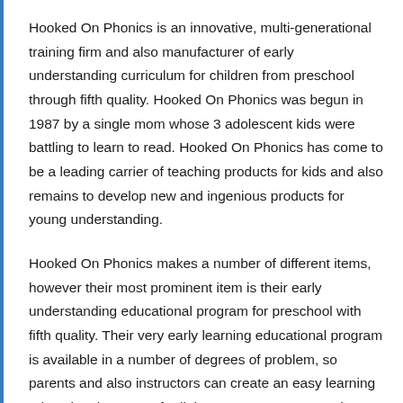Hooked On Phonics is an innovative, multi-generational training firm and also manufacturer of early understanding curriculum for children from preschool through fifth quality. Hooked On Phonics was begun in 1987 by a single mom whose 3 adolescent kids were battling to learn to read. Hooked On Phonics has come to be a leading carrier of teaching products for kids and also remains to develop new and ingenious products for young understanding.
Hooked On Phonics makes a number of different items, however their most prominent item is their early understanding educational program for preschool with fifth quality. Their very early learning educational program is available in a number of degrees of problem, so parents and also instructors can create an easy learning educational program for little ones or an extra tough one for older youngsters. Hooked On Phonics additionally supplies publications along with their very early understanding educational program. These books are tailored toward children and feature